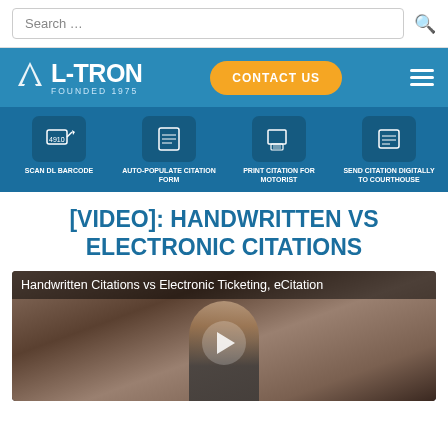Search ...
[Figure (logo): L-TRON logo with mountain icon, Founded 1975, navigation bar with Contact Us button and hamburger menu]
[Figure (infographic): Four-step process icons: SCAN DL BARCODE, AUTO-POPULATE CITATION FORM, PRINT CITATION FOR MOTORIST, SEND CITATION DIGITALLY TO COURTHOUSE]
[VIDEO]: HANDWRITTEN VS ELECTRONIC CITATIONS
[Figure (screenshot): Video thumbnail showing a police officer in uniform with text overlay: Handwritten Citations vs Electronic Ticketing, eCitation, with a play button]